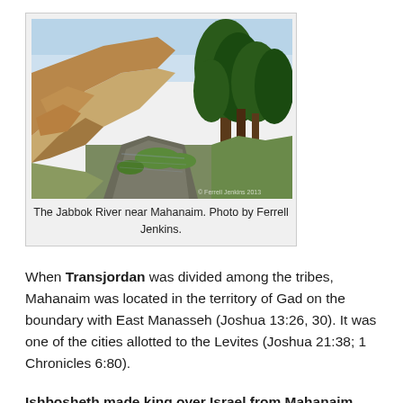[Figure (photo): Photograph of the Jabbok River near Mahanaim, showing a river channel with green vegetation on the banks, rocky hillsides in the background, and trees on the right. Photo credit: Ferrell Jenkins 2013.]
The Jabbok River near Mahanaim. Photo by Ferrell Jenkins.
When Transjordan was divided among the tribes, Mahanaim was located in the territory of Gad on the boundary with East Manasseh (Joshua 13:26, 30). It was one of the cities allotted to the Levites (Joshua 21:38; 1 Chronicles 6:80).
Ishbosheth made king over Israel from Mahanaim